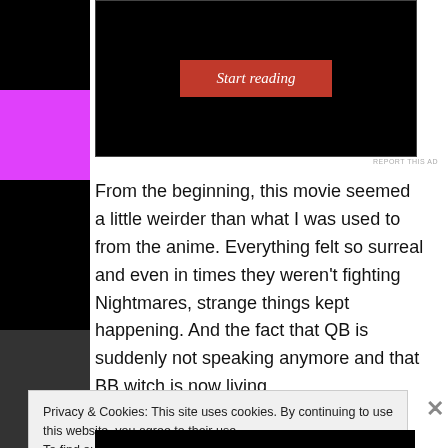[Figure (screenshot): Ad block with black background showing a red 'Start reading' button in italic serif font]
REPORT THIS AD
From the beginning, this movie seemed a little weirder than what I was used to from the anime. Everything felt so surreal and even in times they weren't fighting Nightmares, strange things kept happening. And the fact that QB is suddenly not speaking anymore and that BB witch is now living
Privacy & Cookies: This site uses cookies. By continuing to use this website, you agree to their use.
To find out more, including how to control cookies, see here: Cookie Policy
Close and accept